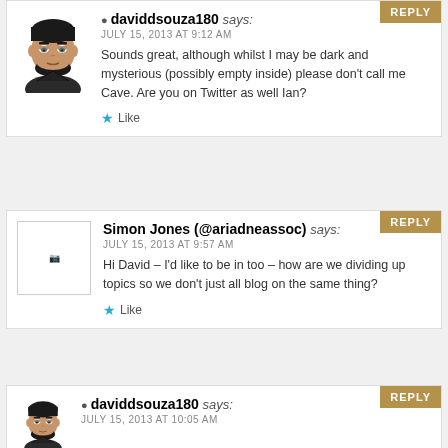daviddsouza180 says:
JULY 15, 2013 AT 9:12 AM
Sounds great, although whilst I may be dark and mysterious (possibly empty inside) please don't call me Cave. Are you on Twitter as well Ian?
Like
Simon Jones (@ariadneassoc) says:
JULY 15, 2013 AT 9:57 AM
Hi David – I'd like to be in too – how are we dividing up topics so we don't just all blog on the same thing?
Like
daviddsouza180 says:
JULY 15, 2013 AT 10:05 AM